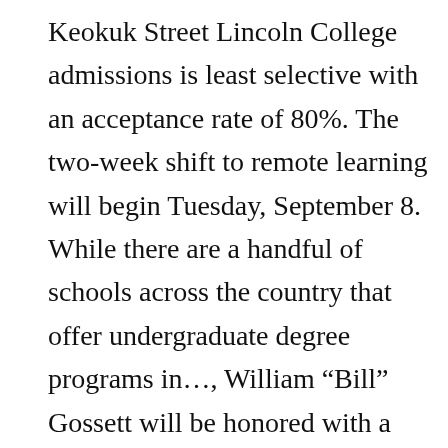Keokuk Street Lincoln College admissions is least selective with an acceptance rate of 80%. The two-week shift to remote learning will begin Tuesday, September 8. While there are a handful of schools across the country that offer undergraduate degree programs in…, William “Bill” Gossett will be honored with a Doctorate of Humane Letters at Lincoln College on Veteran’s Day, Wednesday, November 11. Students at Newark College have created a special sign for a local charity to help them with an exhibition they’re running to remember loved ones. Our effort to mitigate the spread of COVID-19 (Coronavirus) by transitioning to remote learning for two weeks as a precautionary...